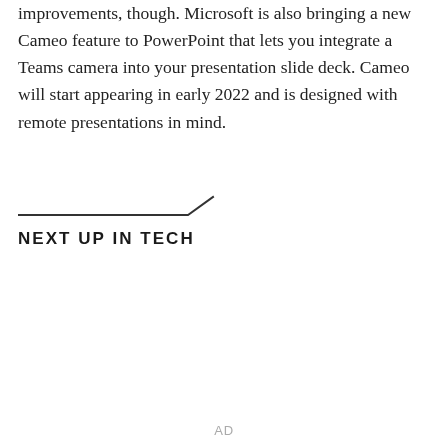improvements, though. Microsoft is also bringing a new Cameo feature to PowerPoint that lets you integrate a Teams camera into your presentation slide deck. Cameo will start appearing in early 2022 and is designed with remote presentations in mind.
NEXT UP IN TECH
AD